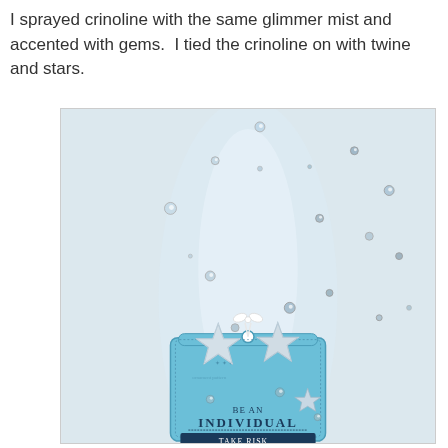I sprayed crinoline with the same glimmer mist and accented with gems.  I tied the crinoline on with twine and stars.
[Figure (photo): A craft/scrapbooking tag decorated in light blue, with silver star charms tied on with white twine, and gem embellishments scattered on sheer crinoline fabric above. The tag reads 'BE AN INDIVIDUAL TAKE RISK...' stamped in navy blue ink.]